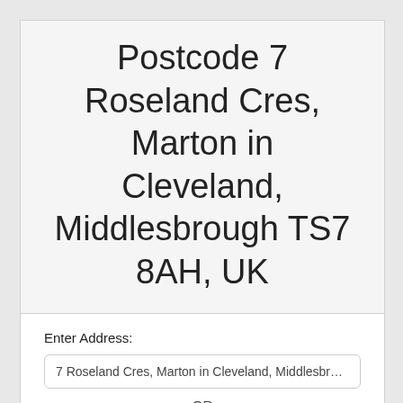Postcode 7 Roseland Cres, Marton in Cleveland, Middlesbrough TS7 8AH, UK
Enter Address:
7 Roseland Cres, Marton in Cleveland, Middlesbrough TS
OR
Use current location
Find Postcode